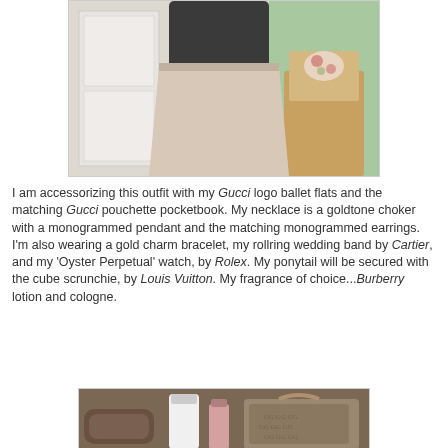[Figure (photo): Photo of a woman wearing a black top and light pink/beige mini skirt, standing in a room with a floral-cushioned wooden chair visible to the right.]
I am accessorizing this outfit with my Gucci logo ballet flats and the matching Gucci pouchette pocketbook. My necklace is a goldtone choker with a monogrammed pendant and the matching monogrammed earrings. I'm also wearing a gold charm bracelet, my rollring wedding band by Cartier, and my 'Oyster Perpetual' watch, by Rolex. My ponytail will be secured with the cube scrunchie, by Louis Vuitton. My fragrance of choice...Burberry lotion and cologne.
[Figure (photo): Photo of luxury accessories laid out: Gucci monogram pouchette bag, ballet flats, and Burberry beauty products.]